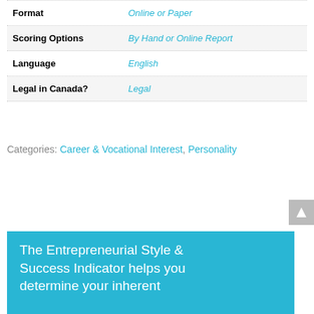| Field | Value |
| --- | --- |
| Format | Online or Paper |
| Scoring Options | By Hand or Online Report |
| Language | English |
| Legal in Canada? | Legal |
Categories: Career & Vocational Interest, Personality
The Entrepreneurial Style & Success Indicator helps you determine your inherent